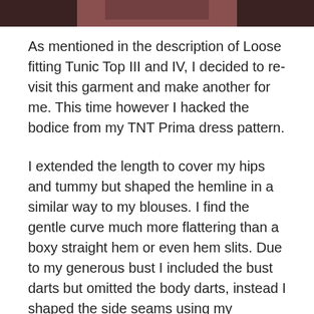[Figure (photo): Partial photo at the top of the page showing a dark reddish-brown garment or fabric, cropped to just the bottom edge of the image.]
As mentioned in the description of Loose fitting Tunic Top III and IV, I decided to re-visit this garment and make another for me. This time however I hacked the bodice from my TNT Prima dress pattern.
I extended the length to cover my hips and tummy but shaped the hemline in a similar way to my blouses. I find the gentle curve much more flattering than a boxy straight hem or even hem slits. Due to my generous bust I included the bust darts but omitted the body darts, instead I shaped the side seams using my dressmaker's french curve ruler.